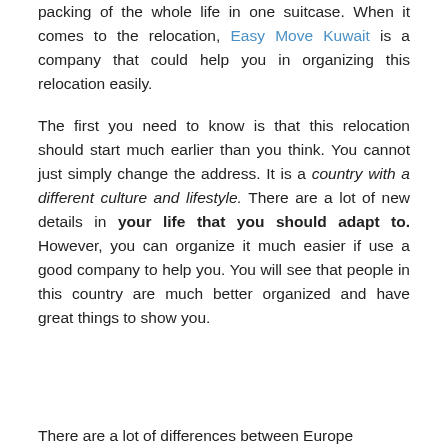packing of the whole life in one suitcase. When it comes to the relocation, Easy Move Kuwait is a company that could help you in organizing this relocation easily.
The first you need to know is that this relocation should start much earlier than you think. You cannot just simply change the address. It is a country with a different culture and lifestyle. There are a lot of new details in your life that you should adapt to. However, you can organize it much easier if use a good company to help you. You will see that people in this country are much better organized and have great things to show you.
There are a lot of differences between Europe